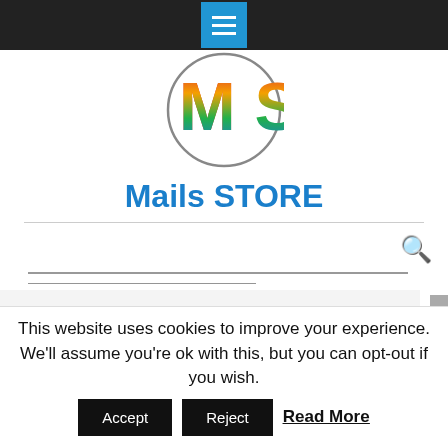[Figure (logo): Navigation bar with hamburger menu button (blue square with white lines) on dark background]
[Figure (logo): Mails Store logo: circle with colorful rainbow letters MS inside]
Mails STORE
Physician Email List guides every business by offering various customization options in the list to make it more user-friendly. It can be customized based on demographics like job title, asset size, work experience,
This website uses cookies to improve your experience. We'll assume you're ok with this, but you can opt-out if you wish.
Accept  Reject  Read More